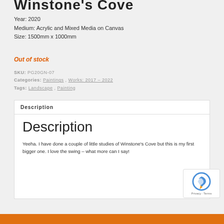Winstone's Cove
Year: 2020
Medium: Acrylic and Mixed Media on Canvas
Size: 1500mm x 1000mm
Out of stock
SKU: PG20GN-07
Categories: Paintings, Works: 2017 – 2022
Tags: Landscape, Painting
Description
Description
Yeeha. I have done a couple of little studies of Winstone's Cove but this is my first bigger one. I love the swing – what more can I say!